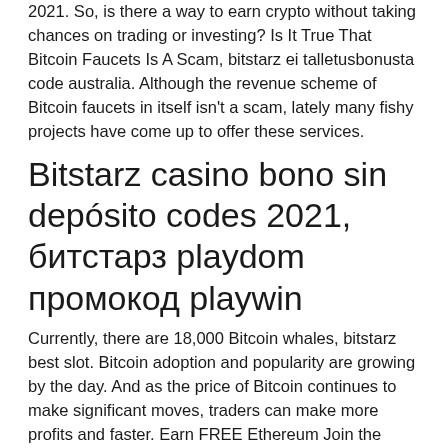2021. So, is there a way to earn crypto without taking chances on trading or investing? Is It True That Bitcoin Faucets Is A Scam, bitstarz ei talletusbonusta code australia. Although the revenue scheme of Bitcoin faucets in itself isn't a scam, lately many fishy projects have come up to offer these services.
Bitstarz casino bono sin depósito codes 2021, битстарз playdom промокод playwin
Currently, there are 18,000 Bitcoin whales, bitstarz best slot. Bitcoin adoption and popularity are growing by the day. And as the price of Bitcoin continues to make significant moves, traders can make more profits and faster. Earn FREE Ethereum Join the most complex, secure and paying Ethereum